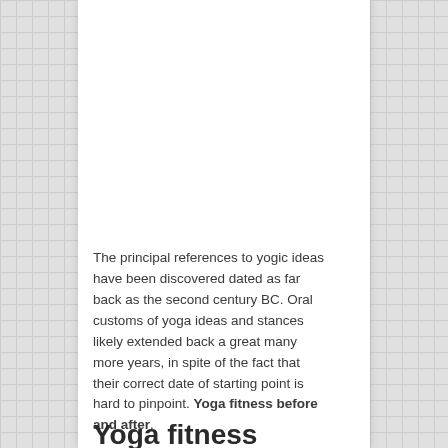The principal references to yogic ideas have been discovered dated as far back as the second century BC. Oral customs of yoga ideas and stances likely extended back a great many more years, in spite of the fact that their correct date of starting point is hard to pinpoint. Yoga fitness before and after.
Yoga fitness before